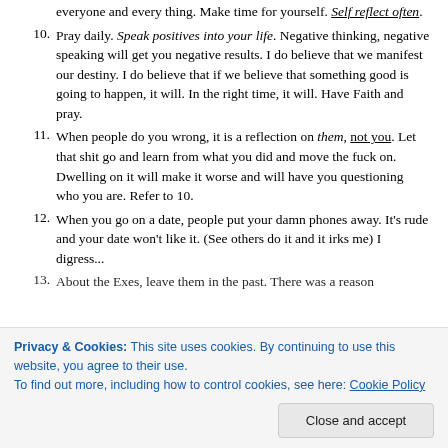everyone and every thing. Make time for yourself. Self reflect often.
10. Pray daily. Speak positives into your life. Negative thinking, negative speaking will get you negative results. I do believe that we manifest our destiny. I do believe that if we believe that something good is going to happen, it will. In the right time, it will. Have Faith and pray.
11. When people do you wrong, it is a reflection on them, not you. Let that shit go and learn from what you did and move the fuck on. Dwelling on it will make it worse and will have you questioning who you are. Refer to 10.
12. When you go on a date, people put your damn phones away. It's rude and your date won't like it. (See others do it and it irks me) I digress...
13. About the Exes, leave them in the past. There was a reason
Privacy & Cookies: This site uses cookies. By continuing to use this website, you agree to their use. To find out more, including how to control cookies, see here: Cookie Policy